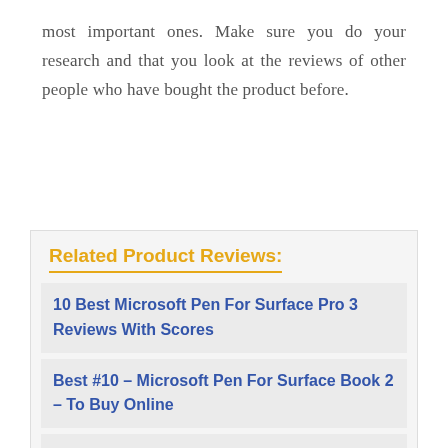most important ones. Make sure you do your research and that you look at the reviews of other people who have bought the product before.
Related Product Reviews:
10 Best Microsoft Pen For Surface Pro 3 Reviews With Scores
Best #10 – Microsoft Pen For Surface Book 2 – To Buy Online
10 Best Microsoft Mouse For Surface Pro Reviews For You